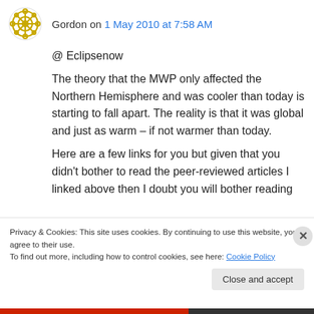Gordon on 1 May 2010 at 7:58 AM
@ Eclipsenow
The theory that the MWP only affected the Northern Hemisphere and was cooler than today is starting to fall apart. The reality is that it was global and just as warm – if not warmer than today.
Here are a few links for you but given that you didn't bother to read the peer-reviewed articles I linked above then I doubt you will bother reading
Privacy & Cookies: This site uses cookies. By continuing to use this website, you agree to their use.
To find out more, including how to control cookies, see here: Cookie Policy